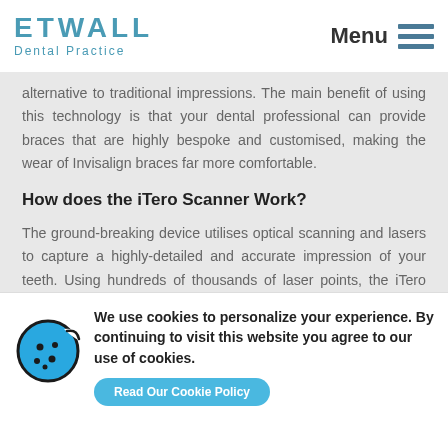ETWALL Dental Practice | Menu
alternative to traditional impressions. The main benefit of using this technology is that your dental professional can provide braces that are highly bespoke and customised, making the wear of Invisalign braces far more comfortable.
How does the iTero Scanner Work?
The ground-breaking device utilises optical scanning and lasers to capture a highly-detailed and accurate impression of your teeth. Using hundreds of thousands of laser points, the iTero Scanner creates a precise digital
[Figure (illustration): Cookie consent banner with cookie icon (blue cookie with bite taken out), text about cookie usage policy, and a blue accept button]
We use cookies to personalize your experience. By continuing to visit this website you agree to our use of cookies.